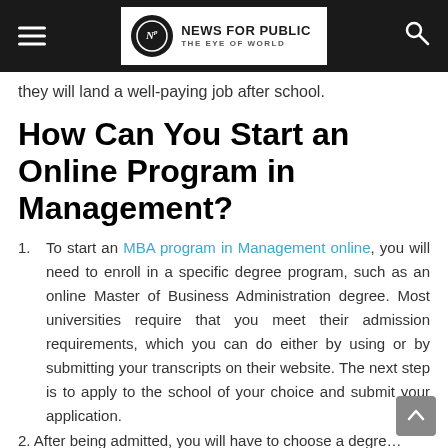NP NEWS FOR PUBLIC THE EYE OF WORLD
they will land a well-paying job after school.
How Can You Start an Online Program in Management?
To start an MBA program in Management online, you will need to enroll in a specific degree program, such as an online Master of Business Administration degree. Most universities require that you meet their admission requirements, which you can do either by using or by submitting your transcripts on their website. The next step is to apply to the school of your choice and submit your application.
After being admitted, you will have to choose a degre…